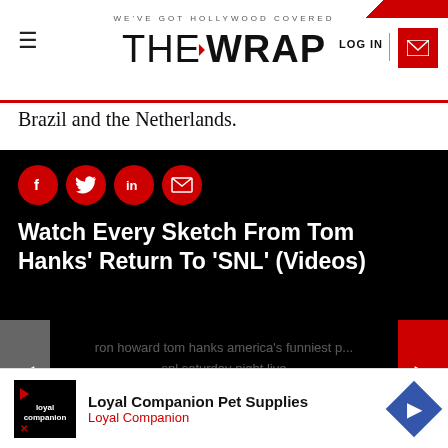THE WRAP — WE'VE GOT HOLLYWOOD COVERED
Brazil and the Netherlands.
[Figure (screenshot): Black video panel with social share icons (Facebook, Twitter, LinkedIn, Email), article title 'Watch Every Sketch From Tom Hanks' Return To 'SNL' (Videos)', navigation arrows, video search tag text 'ron howard tom hanks america's funniest p... snl saturday night live', and slide counter '1 of 14']
Hanks played Capt. Sullenberger, a Trump supporter, on...
[Figure (infographic): Advertisement banner for Loyal Companion Pet Supplies with logo, brand name, and diamond navigation icon]